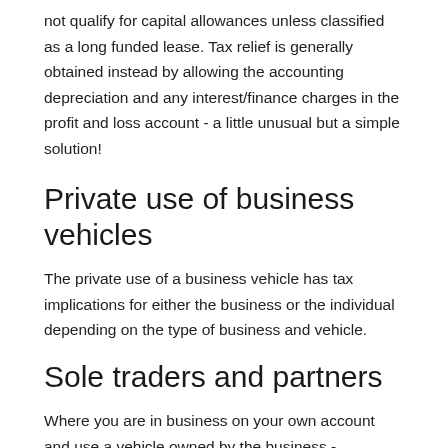not qualify for capital allowances unless classified as a long funded lease. Tax relief is generally obtained instead by allowing the accounting depreciation and any interest/finance charges in the profit and loss account - a little unusual but a simple solution!
Private use of business vehicles
The private use of a business vehicle has tax implications for either the business or the individual depending on the type of business and vehicle.
Sole traders and partners
Where you are in business on your own account and use a vehicle owned by the business -